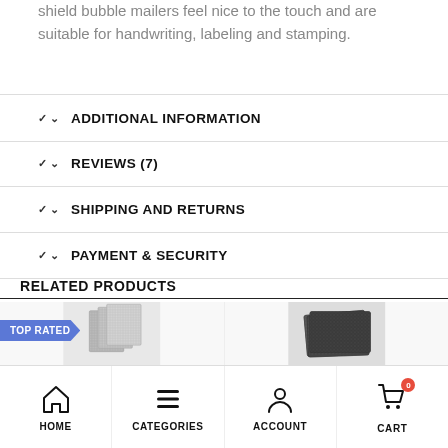shield bubble mailers feel nice to the touch and are suitable for handwriting, labeling and stamping.
ADDITIONAL INFORMATION
REVIEWS (7)
SHIPPING AND RETURNS
PAYMENT & SECURITY
RELATED PRODUCTS
[Figure (photo): Silver bubble mailers product photo with TOP RATED badge]
[Figure (photo): Dark metallic envelope/mailer product photo]
HOME  CATEGORIES  ACCOUNT  CART